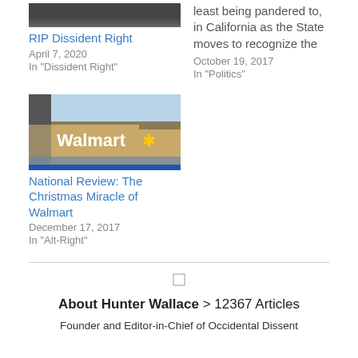RIP Dissident Right
April 7, 2020
In "Dissident Right"
least being pandered to, in California as the State moves to recognize the
October 19, 2017
In "Politics"
[Figure (photo): Exterior of a Walmart store with signage and parking lot]
National Review: The Christmas Miracle of Walmart
December 17, 2017
In "Alt-Right"
About Hunter Wallace > 12367 Articles
Founder and Editor-in-Chief of Occidental Dissent